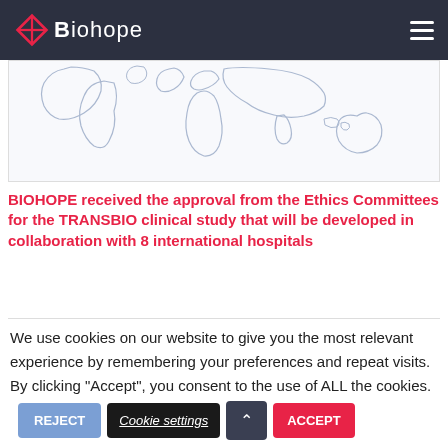Biohope
[Figure (map): World map outline showing continents in light blue lines on white background, partial view showing South America, Africa, Europe, Asia, and Australia]
BIOHOPE received the approval from the Ethics Committees for the TRANSBIO clinical study that will be developed in collaboration with 8 international hospitals
We use cookies on our website to give you the most relevant experience by remembering your preferences and repeat visits. By clicking “Accept”, you consent to the use of ALL the cookies.